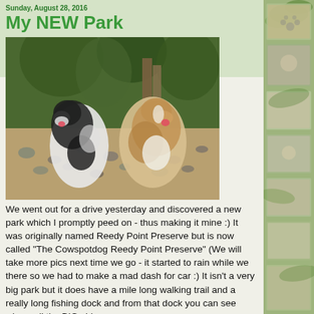Sunday, August 28, 2016
My NEW Park
[Figure (photo): Two dogs sitting on a rocky/sandy beach or shoreline with palm trees and green foliage in the background. One is a black and white dog and the other is a sable and white Rough Collie.]
We went out for a drive yesterday and discovered a new park which I promptly peed on - thus making it mine :) It was originally named Reedy Point Preserve but is now called "The Cowspotdog Reedy Point Preserve" (We will take more pics next time we go - it started to rain while we there so we had to make a mad dash for car :) It isn't a very big park but it does have a mile long walking trail and a really long fishing dock and from that dock you can see where all the BIG ships